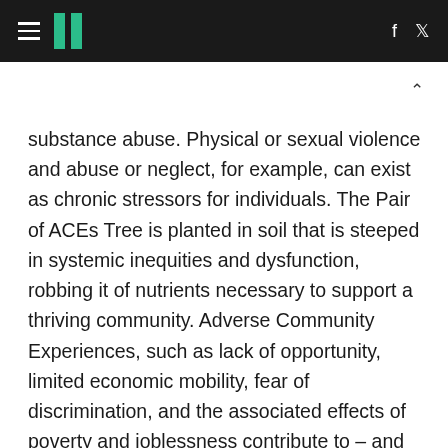HuffPost [hamburger menu] [logo] [f] [twitter]
substance abuse. Physical or sexual violence and abuse or neglect, for example, can exist as chronic stressors for individuals. The Pair of ACEs Tree is planted in soil that is steeped in systemic inequities and dysfunction, robbing it of nutrients necessary to support a thriving community. Adverse Community Experiences, such as lack of opportunity, limited economic mobility, fear of discrimination, and the associated effects of poverty and joblessness contribute to – and compound – the adversities experienced by individuals and families.